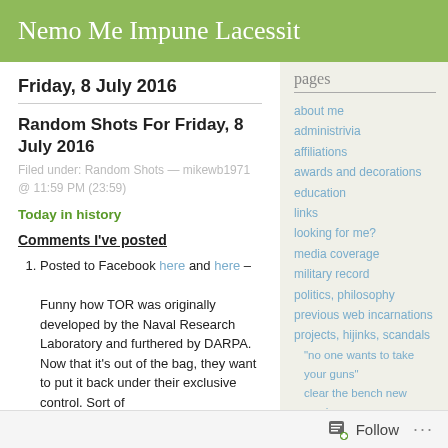Nemo Me Impune Lacessit
pages
about me
administrivia
affiliations
awards and decorations
education
links
looking for me?
media coverage
military record
politics, philosophy
previous web incarnations
projects, hijinks, scandals
“no one wants to take your guns”
clear the bench new mexico
new mexico libertarians
Friday, 8 July 2016
Random Shots For Friday, 8 July 2016
Filed under: Random Shots — mikewb1971 @ 11:59 PM (23:59)
Today in history
Comments I’ve posted
Posted to Facebook here and here –

Funny how TOR was originally developed by the Naval Research Laboratory and furthered by DARPA. Now that it’s out of the bag, they want to put it back under their exclusive control. Sort of